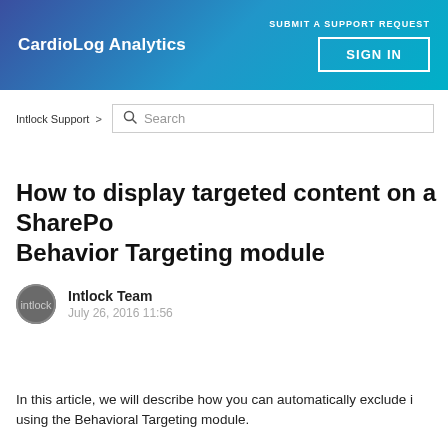CardioLog Analytics | SUBMIT A SUPPORT REQUEST | SIGN IN
Intlock Support >
How to display targeted content on a SharePoint page using the Behavior Targeting module
Intlock Team
July 26, 2016 11:56
In this article, we will describe how you can automatically exclude irrelevant content using the Behavioral Targeting module.